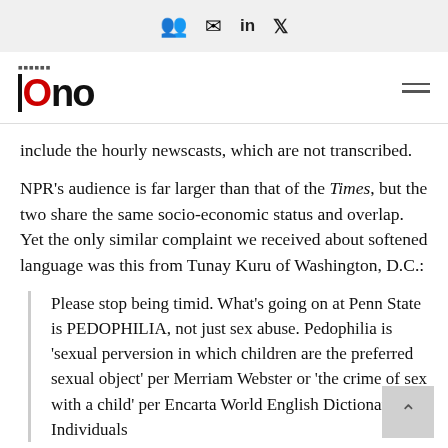🎭 ✉ in 🐦
[Figure (logo): ONO news organization logo with small text above the O]
include the hourly newscasts, which are not transcribed.
NPR's audience is far larger than that of the Times, but the two share the same socio-economic status and overlap. Yet the only similar complaint we received about softened language was this from Tunay Kuru of Washington, D.C.:
Please stop being timid. What's going on at Penn State is PEDOPHILIA, not just sex abuse. Pedophilia is 'sexual perversion in which children are the preferred sexual object' per Merriam Webster or 'the crime of sex with a child' per Encarta World English Dictionary. Individuals